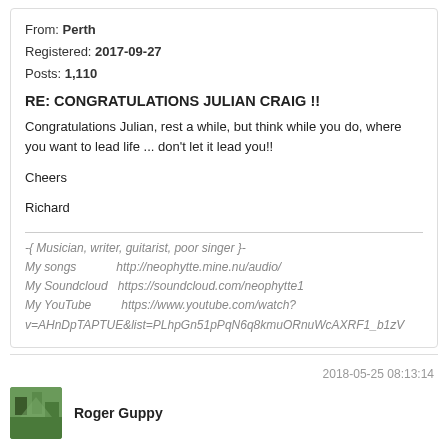From: Perth
Registered: 2017-09-27
Posts: 1,110
RE: CONGRATULATIONS JULIAN CRAIG !!
Congratulations Julian, rest a while, but think while you do, where you want to lead life ... don't let it lead you!!
Cheers
Richard
-{ Musician, writer, guitarist, poor singer }-
My songs          http://neophytte.mine.nu/audio/
My Soundcloud   https://soundcloud.com/neophytte1
My YouTube        https://www.youtube.com/watch?v=AHnDpTAPTUE&list=PLhpGn51pPqN6q8kmuORnuWcAXRF1_b1zV
2018-05-25 08:13:14
Roger Guppy